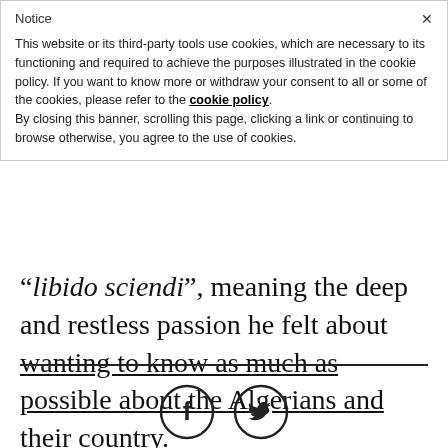Notice
This website or its third-party tools use cookies, which are necessary to its functioning and required to achieve the purposes illustrated in the cookie policy. If you want to know more or withdraw your consent to all or some of the cookies, please refer to the cookie policy.
By closing this banner, scrolling this page, clicking a link or continuing to browse otherwise, you agree to the use of cookies.
“libido sciendi”, meaning the deep and restless passion he felt about wanting to know as much as possible about the Algerians and their country.
[Figure (illustration): Facebook and Twitter social media icon circles at the bottom of the page]